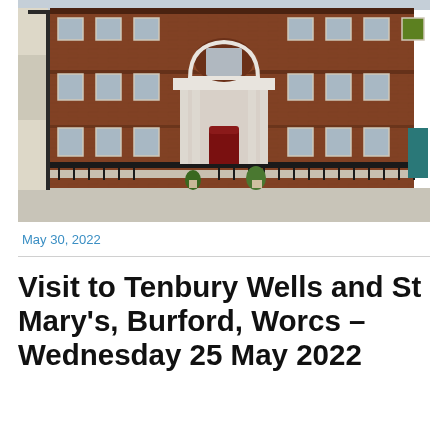[Figure (photo): Photograph of a large Georgian red-brick building facade with white-painted entrance portico, arched window above, sash windows, iron railings, and planted pots at the entrance, viewed from street level.]
May 30, 2022
Visit to Tenbury Wells and St Mary's, Burford, Worcs – Wednesday 25 May 2022